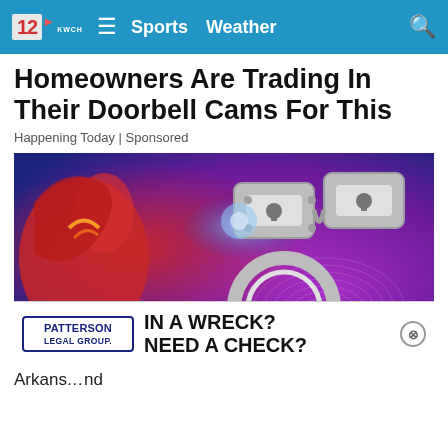12 KWCH | Sports | Weather
Homeowners Are Trading In Their Doorbell Cams For This
Happening Today | Sponsored
[Figure (photo): Close-up photo of silver handcuffs on a colorful purple and red fingerprint background with blue light bokeh]
MOST POPULAR
[Figure (infographic): Advertisement banner: Patterson Legal Group logo with text IN A WRECK? NEED A CHECK?]
Arkans... nd